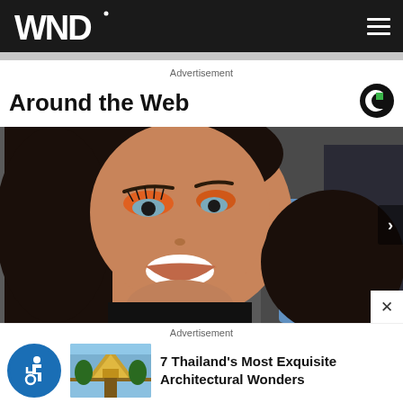WND
Advertisement
Around the Web
[Figure (photo): Selfie of a young woman with dark hair, orange eyeshadow makeup, and a bright smile, wearing a black top. Taken at a slight angle outdoors or near a vehicle.]
Advertisement
7 Thailand's Most Exquisite Architectural Wonders